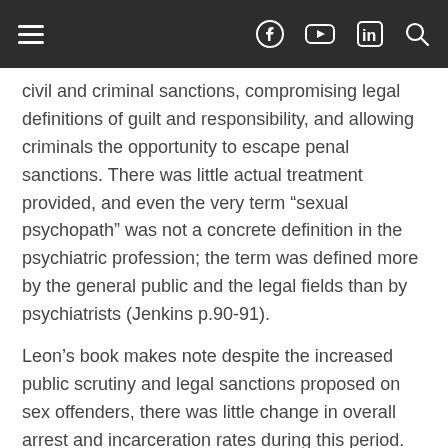Navigation bar with hamburger menu, Facebook, YouTube, LinkedIn, and Search icons
civil and criminal sanctions, compromising legal definitions of guilt and responsibility, and allowing criminals the opportunity to escape penal sanctions. There was little actual treatment provided, and even the very term “sexual psychopath” was not a concrete definition in the psychiatric profession; the term was defined more by the general public and the legal fields than by psychiatrists (Jenkins p.90-91).
Leon’s book makes note despite the increased public scrutiny and legal sanctions proposed on sex offenders, there was little change in overall arrest and incarceration rates during this period. Leon peculates a major reason why there was little change was the gap between public perception of the monstrous sex fiend and the minor or “nuisance” offenders that regularly appeared in court. While there was little research on crime trends of the